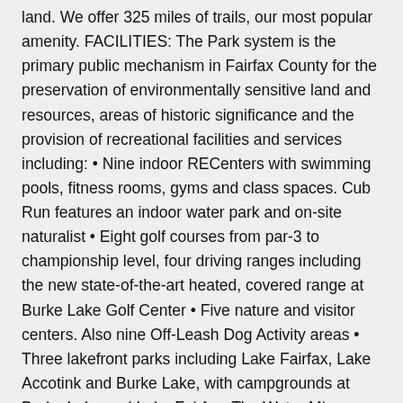land. We offer 325 miles of trails, our most popular amenity. FACILITIES: The Park system is the primary public mechanism in Fairfax County for the preservation of environmentally sensitive land and resources, areas of historic significance and the provision of recreational facilities and services including: • Nine indoor RECenters with swimming pools, fitness rooms, gyms and class spaces. Cub Run features an indoor water park and on-site naturalist • Eight golf courses from par-3 to championship level, four driving ranges including the new state-of-the-art heated, covered range at Burke Lake Golf Center • Five nature and visitor centers. Also nine Off-Leash Dog Activity areas • Three lakefront parks including Lake Fairfax, Lake Accotink and Burke Lake, with campgrounds at Burke Lake and Lake Fairfax. The Water Mine Family Swimmin' Hole at Lake Fairfax, Our Special Harbor Sprayground at Lee as well as an indoor water park at Cub Run RECenter • Clemyjontri Park, a fully accessible playground in Great Falls featuring two acres of family friendly fun and a carousel, as well as Chessie's Big Backyard and a carousel at the Family Recreation Area at Lee District Park • An ice skating rink at